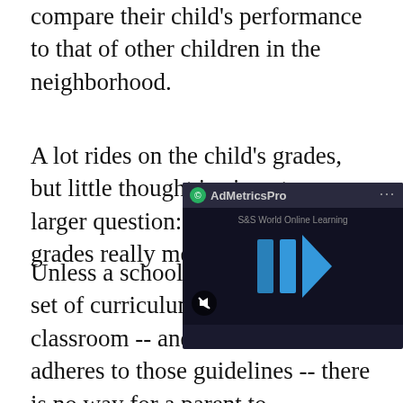compare their child's performance to that of other children in the neighborhood.
A lot rides on the child's grades, but little thought is given to a larger question: What do those grades really mean?
Unless a school district has a strict set of curriculum goals for each classroom -- and the teacher adheres to those guidelines -- there is no way for a parent to accurately know what those letter grades represent.
Another complaint about traditional A-B-C grading is that some teachers set their own standards and often grade within the classroom...
[Figure (screenshot): AdMetricsPro video advertisement overlay showing a dark themed video player with blue play button icon and 'S&S World Online Learning' text]